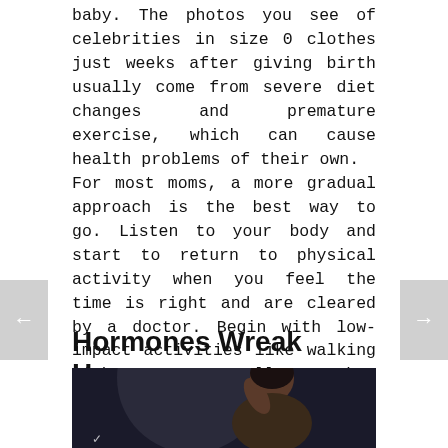baby. The photos you see of celebrities in size 0 clothes just weeks after giving birth usually come from severe diet changes and premature exercise, which can cause health problems of their own.
For most moms, a more gradual approach is the best way to go. Listen to your body and start to return to physical activity when you feel the time is right and are cleared by a doctor. Begin with low-impact activities like walking with your stroller, then progress to more strenuous workouts from there.
Hormones Wreak Havoc
[Figure (photo): A woman with head in hands, appearing stressed, against a dark background with a circular shape. A small logo is visible at the bottom left.]